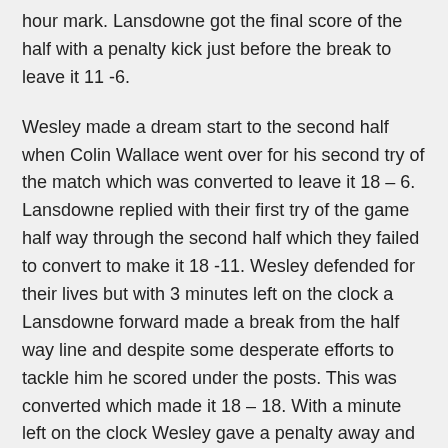hour mark. Lansdowne got the final score of the half with a penalty kick just before the break to leave it 11 -6.
Wesley made a dream start to the second half when Colin Wallace went over for his second try of the match which was converted to leave it 18 – 6. Lansdowne replied with their first try of the game half way through the second half which they failed to convert to make it 18 -11. Wesley defended for their lives but with 3 minutes left on the clock a Lansdowne forward made a break from the half way line and despite some desperate efforts to tackle him he scored under the posts. This was converted which made it 18 – 18. With a minute left on the clock Wesley gave a penalty away and Lansdowne had a kick to win the match in regular time but this fell short and the full time whistle was blown.
Lansdowne started the first half of extra time the stronger and scored a try half way through the first period of extra